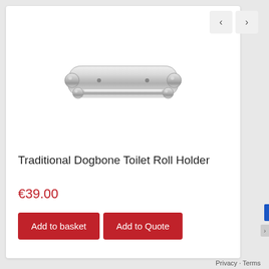[Figure (photo): A chrome traditional dogbone toilet roll holder with two cylindrical bars supported by a wall-mount bracket with decorative ends]
Traditional Dogbone Toilet Roll Holder
€39.00
Add to basket
Add to Quote
Privacy · Terms